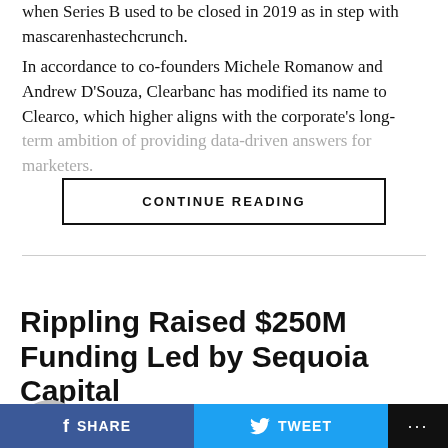when Series B used to be closed in 2019 as in step with mascarenhastechcrunch.
In accordance to co-founders Michele Romanow and Andrew D'Souza, Clearbanc has modified its name to Clearco, which higher aligns with the corporate's long-term ambition of providing data-driven answers for marketers.
CONTINUE READING
BUSINESS
Rippling Raised $250M Funding Led by Sequoia Capital
Published 3 weeks ago on August 1, 2022
SHARE   TWEET   ...